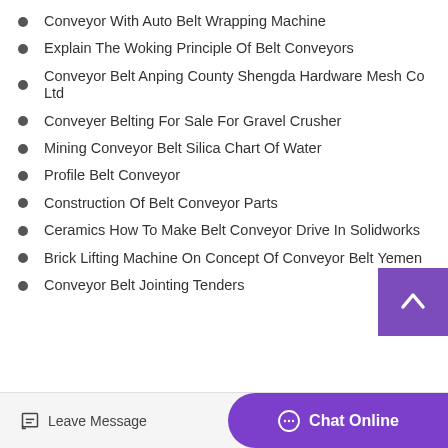Conveyor With Auto Belt Wrapping Machine
Explain The Woking Principle Of Belt Conveyors
Conveyor Belt Anping County Shengda Hardware Mesh Co Ltd
Conveyer Belting For Sale For Gravel Crusher
Mining Conveyor Belt Silica Chart Of Water
Profile Belt Conveyor
Construction Of Belt Conveyor Parts
Ceramics How To Make Belt Conveyor Drive In Solidworks
Brick Lifting Machine On Concept Of Conveyor Belt Yemen
Conveyor Belt Jointing Tenders
Leave Message  Chat Online